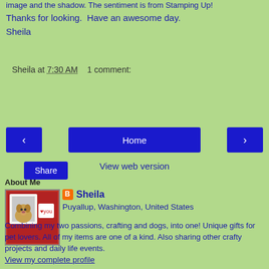image and the shadow. The sentiment is from Stamping Up!
Thanks for looking.  Have an awesome day.
Sheila
Sheila at 7:30 AM    1 comment:
Share
< Home >
View web version
About Me
[Figure (photo): Profile photo showing a crafted card with a cartoon dog on a red background]
Sheila
Puyallup, Washington, United States
Combining my two passions, crafting and dogs, into one! Unique gifts for pet lovers. All of my items are one of a kind. Also sharing other crafty projects and daily life events.
View my complete profile